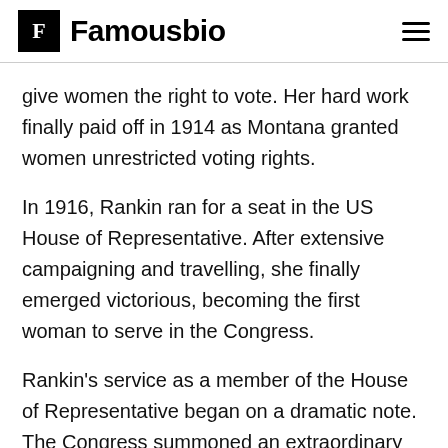Famousbio
give women the right to vote. Her hard work finally paid off in 1914 as Montana granted women unrestricted voting rights.
In 1916, Rankin ran for a seat in the US House of Representative. After extensive campaigning and travelling, she finally emerged victorious, becoming the first woman to serve in the Congress.
Rankin's service as a member of the House of Representative began on a dramatic note. The Congress summoned an extraordinary April